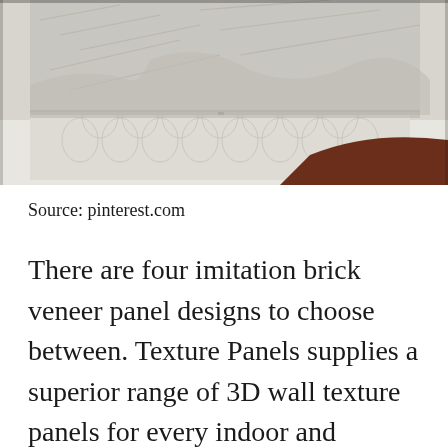[Figure (photo): Interior bedroom photo showing a bed with gray/white knit blanket, patterned geometric rug on white floor, and dark brown curved furniture piece in foreground]
Source: pinterest.com
There are four imitation brick veneer panel designs to choose between. Texture Panels supplies a superior range of 3D wall texture panels for every indoor and outdoor setting. Your post brings me back to my younger married days when we had a faux brick linoleum floor then in our very first home